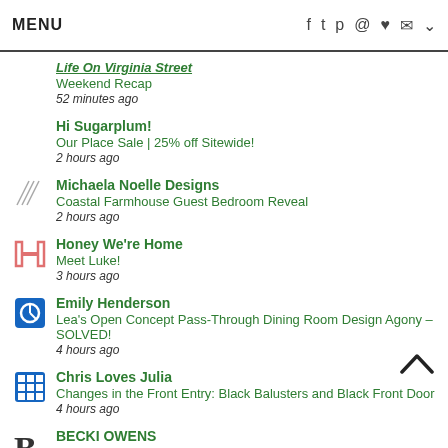MENU
Life On Virginia Street
Weekend Recap
52 minutes ago
Hi Sugarplum!
Our Place Sale | 25% off Sitewide!
2 hours ago
Michaela Noelle Designs
Coastal Farmhouse Guest Bedroom Reveal
2 hours ago
Honey We're Home
Meet Luke!
3 hours ago
Emily Henderson
Lea's Open Concept Pass-Through Dining Room Design Agony – SOLVED!
4 hours ago
Chris Loves Julia
Changes in the Front Entry: Black Balusters and Black Front Door
4 hours ago
BECKI OWENS
The Family-Friendly Living Room of our Golden Hour Project
5 hours ago